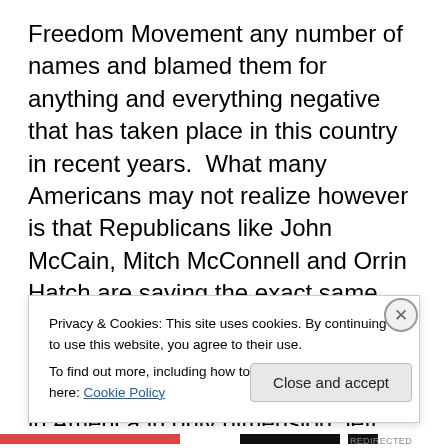Freedom Movement any number of names and blamed them for anything and everything negative that has taken place in this country in recent years. What many Americans may not realize however is that Republicans like John McCain, Mitch McConnell and Orrin Hatch are saying the exact same sorts of things about the Freedom Movement and its leaders. Instead of thinking about the political fabric in America in only dimension, left and right, may I suggest a two dimensional model? Both Democrats and the Republican establishment are more interested in controlling people than they are about doing what is right
Privacy & Cookies: This site uses cookies. By continuing to use this website, you agree to their use. To find out more, including how to control cookies, see here: Cookie Policy
Close and accept
REDIRECTED